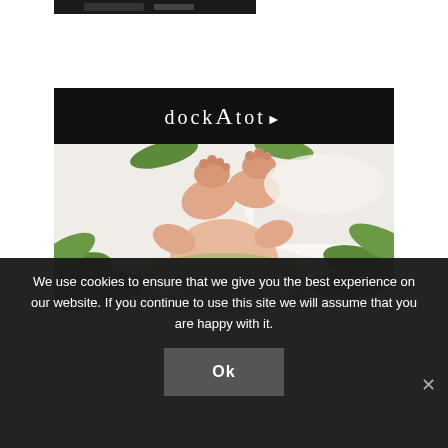[Figure (screenshot): Partial top image strip — cropped screenshot of a previous section, dark tones]
[Figure (photo): DockATot advertisement: black logo bar with 'DockATot' brand name in white serif lettering on black background, below which is a photograph of a baby lying in a DockATot baby lounger with green tropical leaf print fabric on a white bed]
We use cookies to ensure that we give you the best experience on our website. If you continue to use this site we will assume that you are happy with it.
Ok
×